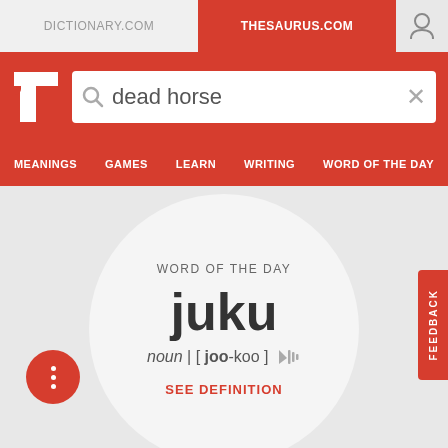DICTIONARY.COM  |  THESAURUS.COM
[Figure (screenshot): Thesaurus.com website header with search bar containing 'dead horse', navigation tabs: MEANINGS, GAMES, LEARN, WRITING, WORD OF THE DAY]
WORD OF THE DAY
juku
noun | [joo-koo ]
SEE DEFINITION